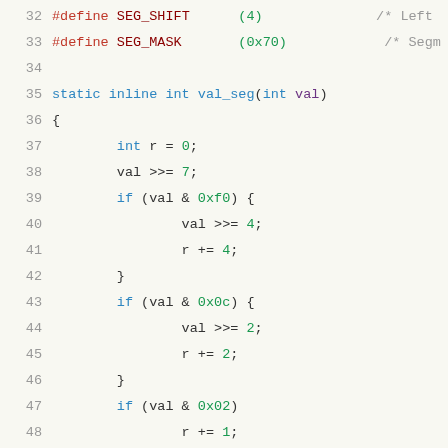Code listing lines 32-52: C source code defining SEG_SHIFT, SEG_MASK, val_seg function, and BIAS macro